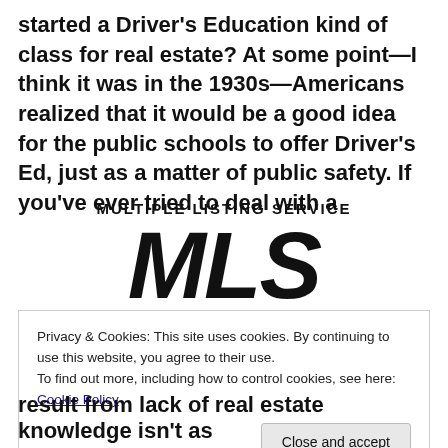started a Driver's Education kind of class for real estate? At some point—I think it was in the 1930s—Americans realized that it would be a good idea for the public schools to offer Driver's Ed, just as a matter of public safety. If you've ever tried to deal with a
[Figure (logo): Multiple Listing Service MLS logo with large bold italic MLS text]
Privacy & Cookies: This site uses cookies. By continuing to use this website, you agree to their use.
To find out more, including how to control cookies, see here: Cookie Policy
Close and accept
result from lack of real estate knowledge isn't as